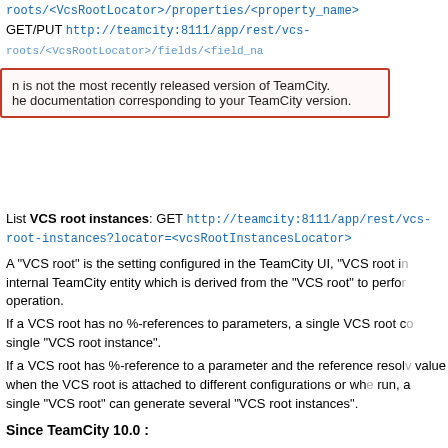roots/<VcsRootLocator>/properties/<property_name>
GET/PUT http://teamcity:8111/app/rest/vcs-roots/<VcsRootLocator>/fields/<field_name>
n is not the most recently released version of TeamCity. o as he documentation corresponding to your TeamCity version.
List VCS root instances: GET http://teamcity:8111/app/rest/vcs-root-instances?locator=<vcsRootInstancesLocator>
A "VCS root" is the setting configured in the TeamCity UI, "VCS root instance" is an internal TeamCity entity which is derived from the "VCS root" to perform the actual operation.
If a VCS root has no %-references to parameters, a single VCS root corresponds to a single "VCS root instance".
If a VCS root has %-reference to a parameter and the reference resolves to a different value when the VCS root is attached to different configurations or when building in the run, a single "VCS root" can generate several "VCS root instances".
Since TeamCity 10.0 :
There are two endpoints dedicated at using in commit hooks from the repositories:
POST http://teamcity:8111/app/rest/vcs-root-instances/checkingForChangesQueue?locator=<vcsRootInstancesLocator> - schedules checking for changes